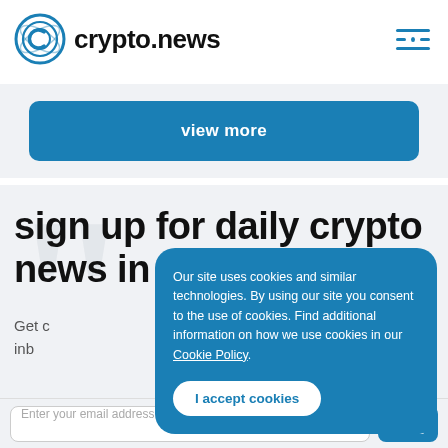crypto.news
view more
sign up for daily crypto news in your inbox
Get curated crypto news delivered to your inbox
Our site uses cookies and similar technologies. By using our site you consent to the use of cookies. Find additional information on how we use cookies in our Cookie Policy.
I accept cookies
Enter your email address